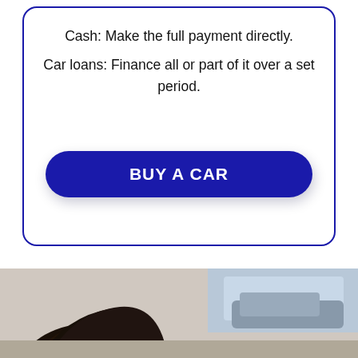Cash: Make the full payment directly.
Car loans: Finance all or part of it over a set period.
BUY A CAR
[Figure (photo): Bottom strip showing top of a person's head with dark hair, and partial view of a car in the background.]